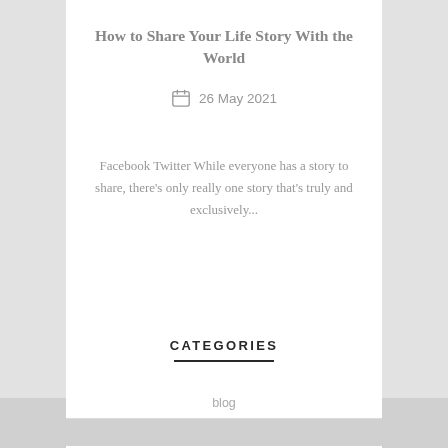How to Share Your Life Story With the World
26 May 2021
Facebook Twitter While everyone has a story to share, there’s only really one story that’s truly and exclusively...
CATEGORIES
blog
book cover design
book editing
Book launch